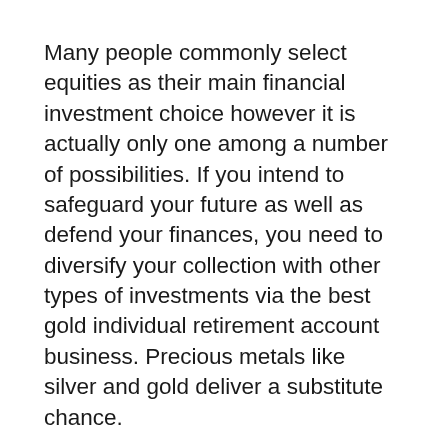Many people commonly select equities as their main financial investment choice however it is actually only one among a number of possibilities. If you intend to safeguard your future as well as defend your finances, you need to diversify your collection with other types of investments via the best gold individual retirement account business. Precious metals like silver and gold deliver a substitute chance.
Committing a section of your cash in to gold and silvers, either by means of individual financial investment or even self-directed IRA, permits you to expand your assets and also make all of them extra dependable in the event that stocks decrease considerably.